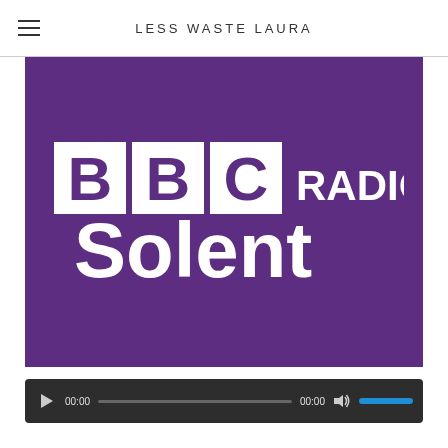LESS WASTE LAURA
[Figure (logo): BBC Radio Solent logo on purple background — white BBC blocks with 'RADIO' text and large 'Solent' below]
[Figure (other): Audio player bar with play button, 00:00 timestamps, progress bar, volume icon, and blue volume slider]